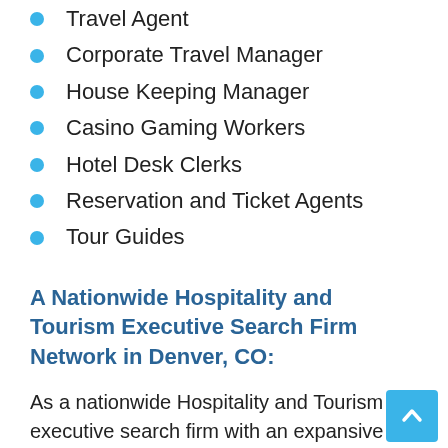Travel Agent
Corporate Travel Manager
House Keeping Manager
Casino Gaming Workers
Hotel Desk Clerks
Reservation and Ticket Agents
Tour Guides
A Nationwide Hospitality and Tourism Executive Search Firm Network in Denver, CO:
As a nationwide Hospitality and Tourism executive search firm with an expansive network of professional Hospitality and Tourism executive recruiters located in most major cities across the nation, Reaction Search and its Hospitality and Tourism recruiters Denver are